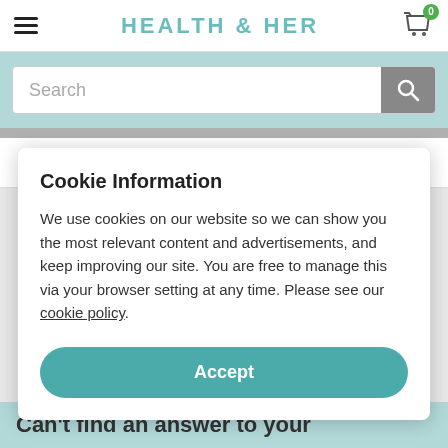HEALTH & HER
[Figure (screenshot): Search bar with placeholder text 'Search' and a gray search button with magnifying glass icon]
Can you take the Health & Her Menopause
Cookie Information
We use cookies on our website so we can show you the most relevant content and advertisements, and keep improving our site. You are free to manage this via your browser setting at any time. Please see our cookie policy.
Accept
Can't find an answer to your